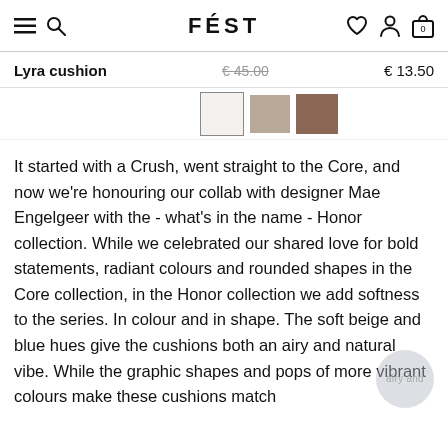FÉST — navigation bar with hamburger menu, search, heart, user, and cart icons
Lyra cushion   € 45.00 (strikethrough)   € 13.50
[Figure (photo): Three small product thumbnail images of cushions, one selected (white/beige outline), one medium brown, one dark brown]
It started with a Crush, went straight to the Core, and now we're honouring our collab with designer Mae Engelgeer with the - what's in the name - Honor collection. While we celebrated our shared love for bold statements, radiant colours and rounded shapes in the Core collection, in the Honor collection we add softness to the series. In colour and in shape. The soft beige and blue hues give the cushions both an airy and natural vibe. While the graphic shapes and pops of more vibrant colours make these cushions match